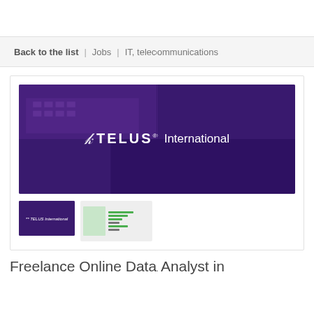Back to the list | Jobs | IT, telecommunications
[Figure (photo): TELUS International company banner image with purple overlay showing office building and people, with TELUS International logo centered]
[Figure (photo): Thumbnail of TELUS International banner]
[Figure (photo): Thumbnail of TELUS International document/brochure with green accents]
Freelance Online Data Analyst in